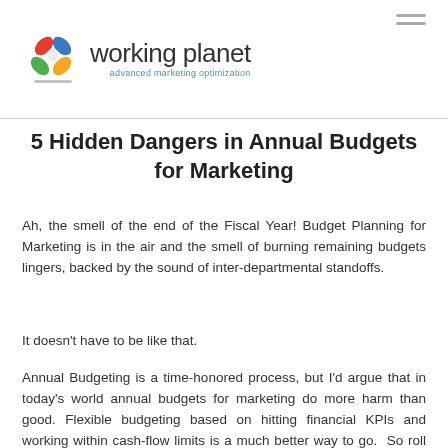[Figure (logo): Working Planet logo with colorful pinwheel icon and wordmark 'working planet' with tagline 'advanced marketing optimization']
5 Hidden Dangers in Annual Budgets for Marketing
Ah, the smell of the end of the Fiscal Year! Budget Planning for Marketing is in the air and the smell of burning remaining budgets lingers, backed by the sound of inter-departmental standoffs.
It doesn't have to be like that.
Annual Budgeting is a time-honored process, but I'd argue that in today's world annual budgets for marketing do more harm than good. Flexible budgeting based on hitting financial KPIs and working within cash-flow limits is a much better way to go.  So roll up your sleeves and get that coffee, because today we're talking about the five main reasons Annual Budgeting can harm your marketing